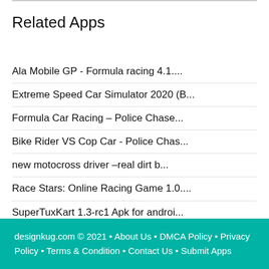Related Apps
Ala Mobile GP - Formula racing 4.1....
Extreme Speed Car Simulator 2020 (B...
Formula Car Racing – Police Chase...
Bike Rider VS Cop Car - Police Chas...
new motocross driver –real dirt b...
Race Stars: Online Racing Game 1.0....
SuperTuxKart 1.3-rc1 Apk for androi...
New Lada: Russian Car Drift - Racin...
Draw Your Car - Create Build and Ma...
designkug.com © 2021 • About Us • DMCA Policy • Privacy Policy • Terms & Condition • Contact Us • Submit Apps